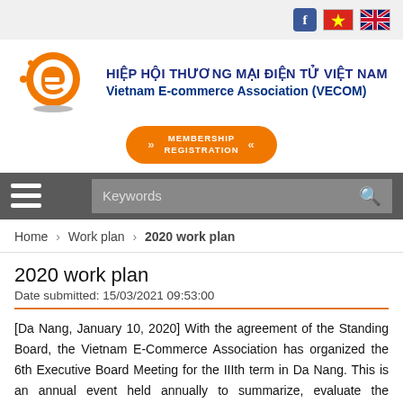[Figure (logo): VECOM logo - orange circle with stylized e, organization name in Vietnamese and English]
[Figure (other): Membership Registration orange button with chevrons]
[Figure (other): Navigation bar with hamburger menu and keyword search box]
Home > Work plan > 2020 work plan
2020 work plan
Date submitted: 15/03/2021 09:53:00
[Da Nang, January 10, 2020] With the agreement of the Standing Board, the Vietnam E-Commerce Association has organized the 6th Executive Board Meeting for the IIIth term in Da Nang. This is an annual event held annually to summarize, evaluate the achieved